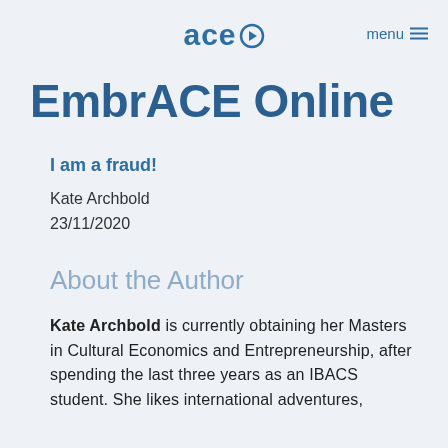ace> menu
EmbrACE Online
I am a fraud!
Kate Archbold
23/11/2020
About the Author
Kate Archbold is currently obtaining her Masters in Cultural Economics and Entrepreneurship, after spending the last three years as an IBACS student. She likes international adventures,